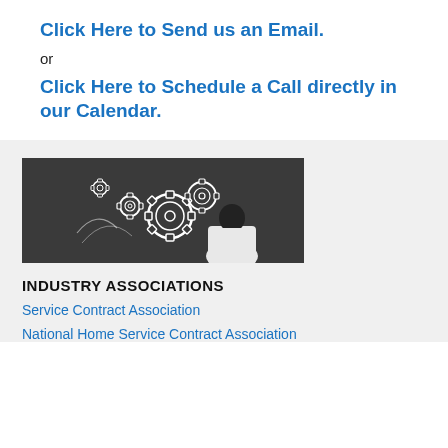Click Here to Send us an Email.
or
Click Here to Schedule a Call directly in our Calendar.
[Figure (photo): A person standing at a chalkboard covered with hand-drawn gears/cogs, viewed from behind, wearing a white shirt.]
INDUSTRY ASSOCIATIONS
Service Contract Association
National Home Service Contract Association